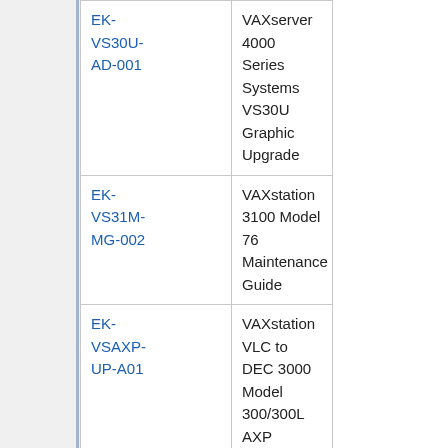| Code | Title | Year |
| --- | --- | --- |
| EK-VS30U-AD-001 | VAXserver 4000 Series Systems VS30U Graphic Upgrade |  |
| EK-VS31M-MG-002 | VAXstation 3100 Model 76 Maintenance Guide |  |
| EK-VSAXP-UP-A01 | VAXstation VLC to DEC 3000 Model 300/300L AXP Upgrade |  |
| EK-VSM31-OM-002 | VAXstation 3100 Model 38 Owner's Manual |  |
| EK-VSM40-OM-002 | VAXstation 3100 Model 48 Owner's Manual |  |
| EK-VSV21- | VSV21 Version 2.0 Pocket Service | 1987 |